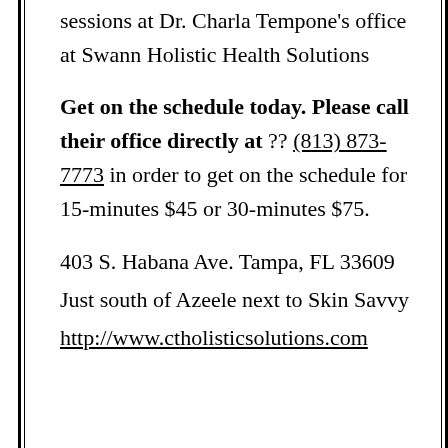sessions at Dr. Charla Tempone's office at Swann Holistic Health Solutions
Get on the schedule today. Please call their office directly at ?? (813) 873-7773 in order to get on the schedule for 15-minutes $45 or 30-minutes $75.
403 S. Habana Ave. Tampa, FL 33609
Just south of Azeele next to Skin Savvy
http://www.ctholisticsolutions.com